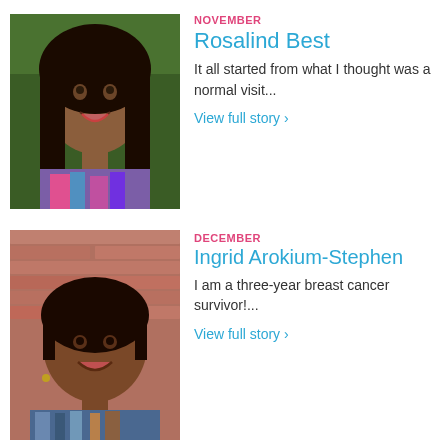[Figure (photo): Portrait photo of Rosalind Best, a woman with long dark hair, smiling, wearing a colorful scarf, outdoors with green foliage background.]
NOVEMBER
Rosalind Best
It all started from what I thought was a normal visit...
View full story ›
[Figure (photo): Portrait photo of Ingrid Arokium-Stephen, a woman with short dark hair, smiling, standing in front of a brick wall.]
DECEMBER
Ingrid Arokium-Stephen
I am a three-year breast cancer survivor!...
View full story ›